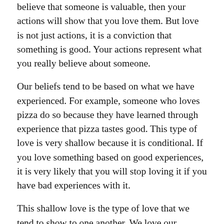believe that someone is valuable, then your actions will show that you love them. But love is not just actions, it is a conviction that something is good. Your actions represent what you really believe about someone.
Our beliefs tend to be based on what we have experienced. For example, someone who loves pizza do so because they have learned through experience that pizza tastes good. This type of love is very shallow because it is conditional. If you love something based on good experiences, it is very likely that you will stop loving it if you have bad experiences with it.
This shallow love is the type of love that we tend to show to one another. We love our families and friends because they are, for the most part, kind to us. Very rarely will someone show love to just anyone, and almost never does anyone show love towards their enemies, or towards people they do not like. Our love is conditional.